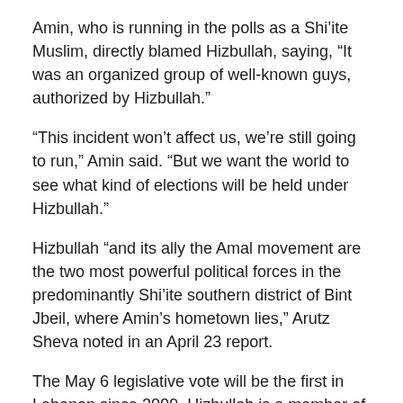Amin, who is running in the polls as a Shi’ite Muslim, directly blamed Hizbullah, saying, “It was an organized group of well-known guys, authorized by Hizbullah.”
“This incident won’t affect us, we’re still going to run,” Amin said. “But we want the world to see what kind of elections will be held under Hizbullah.”
Hizbullah “and its ally the Amal movement are the two most powerful political forces in the predominantly Shi’ite southern district of Bint Jbeil, where Amin’s hometown lies,” Arutz Sheva noted in an April 23 report.
The May 6 legislative vote will be the first in Lebanon since 2009. Hizbullah is a member of Prime Minister Saad Hariri’s cabinet.
Both Hizbullah’s armed and political wings are considered terror organizations by the United States.